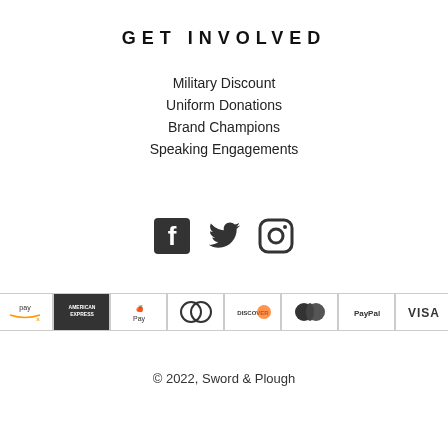GET INVOLVED
Military Discount
Uniform Donations
Brand Champions
Speaking Engagements
[Figure (infographic): Social media icons: Facebook, Twitter, Instagram]
[Figure (infographic): Payment method logos: Amazon Pay, American Express, Apple Pay, Diners Club, Discover, Mastercard, PayPal, Visa]
© 2022, Sword & Plough